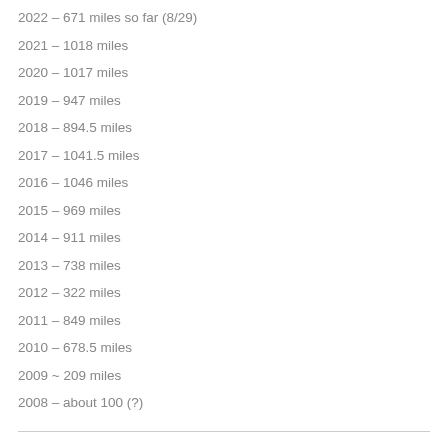2022 – 671 miles so far (8/29)
2021 – 1018 miles
2020 – 1017 miles
2019 – 947 miles
2018 – 894.5 miles
2017 – 1041.5 miles
2016 – 1046 miles
2015 – 969 miles
2014 – 911 miles
2013 – 738 miles
2012 – 322 miles
2011 – 849 miles
2010 – 678.5 miles
2009 ~ 209 miles
2008 – about 100 (?)
Top Posts
Grete's Great Gallon 10K Race Recap